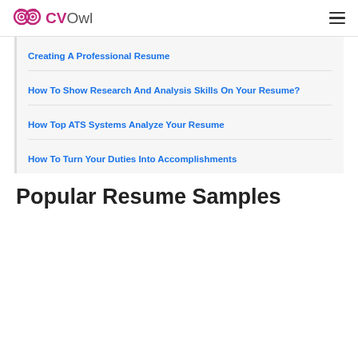CVOwl
Creating A Professional Resume
How To Show Research And Analysis Skills On Your Resume?
How Top ATS Systems Analyze Your Resume
How To Turn Your Duties Into Accomplishments
Popular Resume Samples